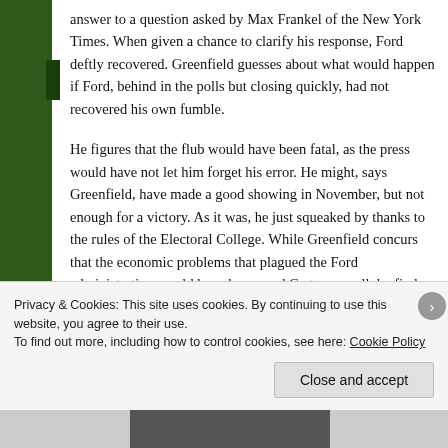answer to a question asked by Max Frankel of the New York Times. When given a chance to clarify his response, Ford deftly recovered. Greenfield guesses about what would happen if Ford, behind in the polls but closing quickly, had not recovered his own fumble.
He figures that the flub would have been fatal, as the press would have not let him forget his error. He might, says Greenfield, have made a good showing in November, but not enough for a victory. As it was, he just squeaked by thanks to the rules of the Electoral College. While Greenfield concurs that the economic problems that plagued the Ford administration would have hampered Carter as well, he finds a key
Privacy & Cookies: This site uses cookies. By continuing to use this website, you agree to their use.
To find out more, including how to control cookies, see here: Cookie Policy
Close and accept